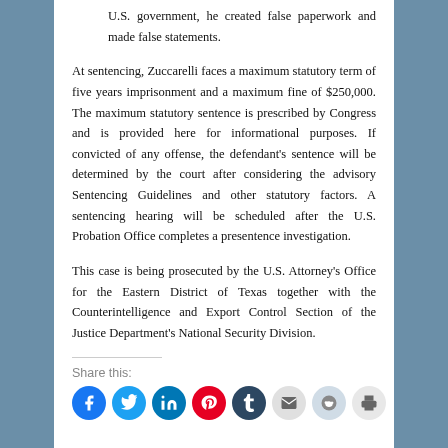U.S. government, he created false paperwork and made false statements.
At sentencing, Zuccarelli faces a maximum statutory term of five years imprisonment and a maximum fine of $250,000. The maximum statutory sentence is prescribed by Congress and is provided here for informational purposes. If convicted of any offense, the defendant's sentence will be determined by the court after considering the advisory Sentencing Guidelines and other statutory factors. A sentencing hearing will be scheduled after the U.S. Probation Office completes a presentence investigation.
This case is being prosecuted by the U.S. Attorney's Office for the Eastern District of Texas together with the Counterintelligence and Export Control Section of the Justice Department's National Security Division.
Share this: